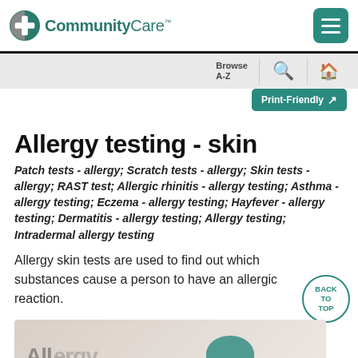CommunityCare
Allergy testing - skin
Patch tests - allergy; Scratch tests - allergy; Skin tests - allergy; RAST test; Allergic rhinitis - allergy testing; Asthma - allergy testing; Eczema - allergy testing; Hayfever - allergy testing; Dermatitis - allergy testing; Allergy testing; Intradermal allergy testing
Allergy skin tests are used to find out which substances cause a person to have an allergic reaction.
[Figure (photo): Bottom portion of a medical illustration for allergy testing - skin, partially visible]